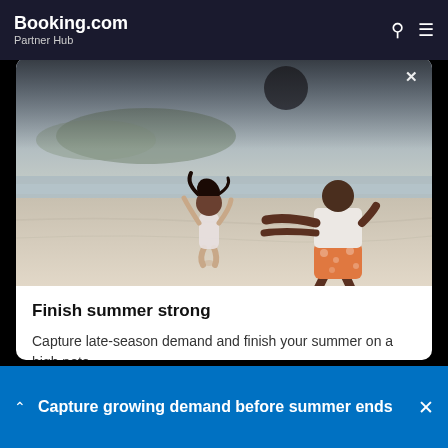Booking.com Partner Hub
[Figure (photo): Beach scene with a child jumping with arms raised and an adult reaching toward them on a sandy beach with calm water in the background.]
Finish summer strong
Capture late-season demand and finish your summer on a high note.
Get more advice
Capture growing demand before summer ends